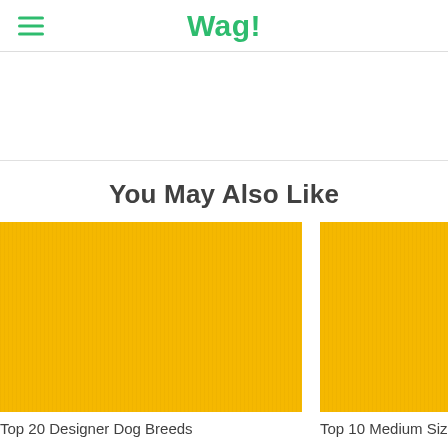Wag!
You May Also Like
[Figure (photo): Yellow/gold colored image card for 'Top 20 Designer Dog Breeds']
Top 20 Designer Dog Breeds
[Figure (photo): Yellow/gold colored image card for 'Top 10 Medium Sized...' (partially visible)]
Top 10 Medium Sized